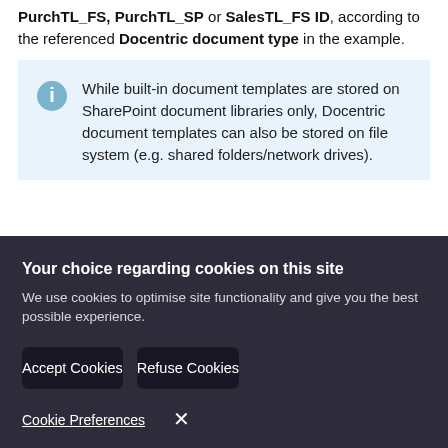create a new Docentric document type with PurchTL_FS, PurchTL_SP or SalesTL_FS ID, according to the referenced Docentric document type in the example.
While built-in document templates are stored on SharePoint document libraries only, Docentric document templates can also be stored on file system (e.g. shared folders/network drives).
Your choice regarding cookies on this site
We use cookies to optimise site functionality and give you the best possible experience.
Accept Cookies
Refuse Cookies
Cookie Preferences